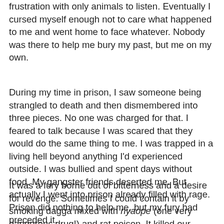frustration with only animals to listen. Eventually I cursed myself enough not to care what happened to me and went home to face whatever. Nobody was there to help me bury my past, but me on my own.
During my time in prison, I saw someone being strangled to death and then dismembered into three pieces. No one was charged for that. I feared to talk because I was scared that they would do the same thing to me. I was trapped in a living hell beyond anything I'd experienced outside. I was bullied and spent days without food. My gangster friends deserted me. But actually I went into prison already filled with rage. Prison did nothing to help me, but my fury had preceded it.
It was a fury borne out of bitterness and a desire for revenge. Sometimes I could contain it by smoking dagga mixed with nyaope (one very dangerous drug!) and rat poison. It killed our anxiety and boosted our confidence. It made us fearless and willing to act without hesitation. I craved money and popularity